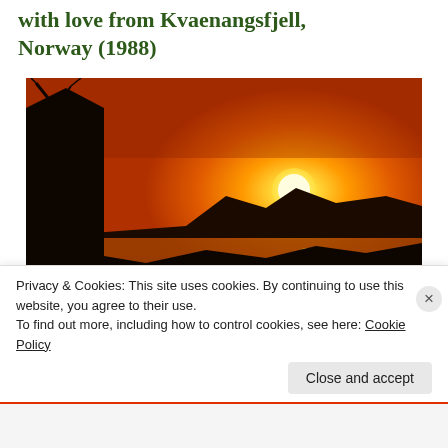with love from Kvaenangsfjell, Norway (1988)
[Figure (photo): Sunset over a Norwegian fjord with silhouetted rocks, islands, and a building on the left. The sky is bright orange-yellow with the sun near the horizon reflecting on the water. A watermark reading 'ENANGS...' is visible in the lower left corner.]
Privacy & Cookies: This site uses cookies. By continuing to use this website, you agree to their use.
To find out more, including how to control cookies, see here: Cookie Policy
Close and accept